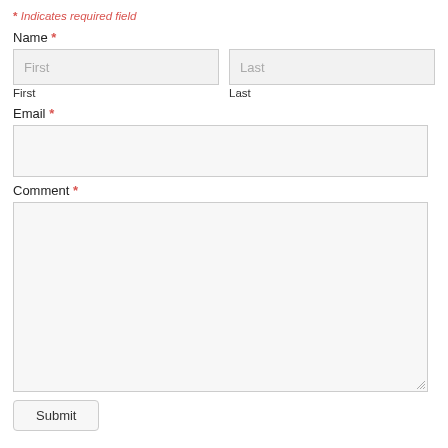* Indicates required field
Name *
First
Last
Email *
Comment *
Submit